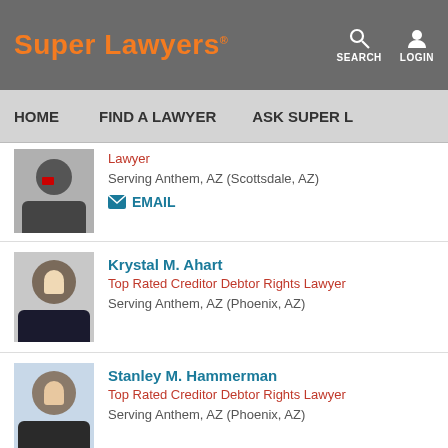Super Lawyers | SEARCH | LOGIN | HOME | FIND A LAWYER | ASK SUPER L
Lawyer
Serving Anthem, AZ (Scottsdale, AZ)
EMAIL
Krystal M. Ahart
Top Rated Creditor Debtor Rights Lawyer
Serving Anthem, AZ (Phoenix, AZ)
Stanley M. Hammerman
Top Rated Creditor Debtor Rights Lawyer
Serving Anthem, AZ (Phoenix, AZ)